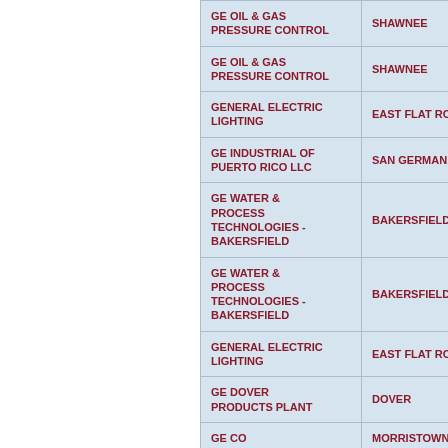| Facility Name | City | State |
| --- | --- | --- |
| GE OIL & GAS PRESSURE CONTROL | SHAWNEE | OK |
| GE OIL & GAS PRESSURE CONTROL | SHAWNEE | OK |
| GENERAL ELECTRIC LIGHTING | EAST FLAT ROCK | NC |
| GE INDUSTRIAL OF PUERTO RICO LLC | SAN GERMAN | PR |
| GE WATER & PROCESS TECHNOLOGIES - BAKERSFIELD | BAKERSFIELD | CA |
| GE WATER & PROCESS TECHNOLOGIES - BAKERSFIELD | BAKERSFIELD | CA |
| GENERAL ELECTRIC LIGHTING | EAST FLAT ROCK | NC |
| GE DOVER PRODUCTS PLANT | DOVER | OH |
| GE CO | MORRISTOWN | TN |
| GEA BLOOMINGTON PRODUCTION OPERATIONS LLC | BLOOMINGTON | IN |
| GE TRANSPORTATION | GROVE CITY | PA |